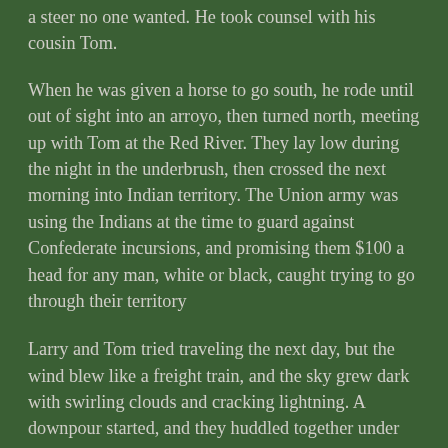a steer no one wanted. He took counsel with his cousin Tom.
When he was given a horse to go south, he rode until out of sight into an arroyo, then turned north, meeting up with Tom at the Red River. They lay low during the night in the underbrush, then crossed the next morning into Indian territory. The Union army was using the Indians at the time to guard against Confederate incursions, and promising them $100 a head for any man, white or black, caught trying to go through their territory
Larry and Tom tried traveling the next day, but the wind blew like a freight train, and the sky grew dark with swirling clouds and cracking lightning. A downpour started, and they huddled together under scrub pine. When the storm cleared, they discovered they were near a Choctaw Indian village. They hid and tried to travel again the next night, but again a storm blew in, and they took shelter. This pattern repeated so that after three days they had hardly made five miles from the river. Tom had enough – he resolved to travel in the daylight.
The next day, they walked a short distance, keeping the sun on their left in the morning. Before they had gone two miles, a large Indian wearing a blue army coat stepped out in front